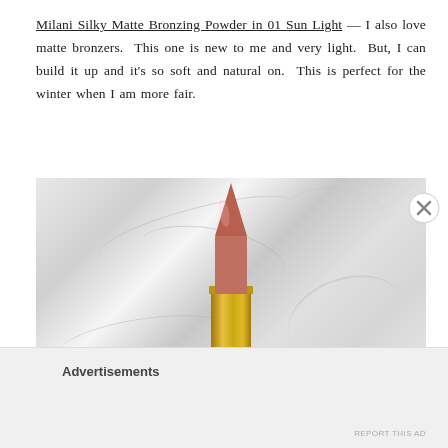Milani Silky Matte Bronzing Powder in 01 Sun Light — I also love matte bronzers. This one is new to me and very light. But, I can build it up and it's so soft and natural on. This is perfect for the winter when I am more fair.
[Figure (photo): Photo of a MAC lipstick in a gold tube with a mauve/nude-pink bullet, placed against a white marble background with grey veining.]
Advertisements